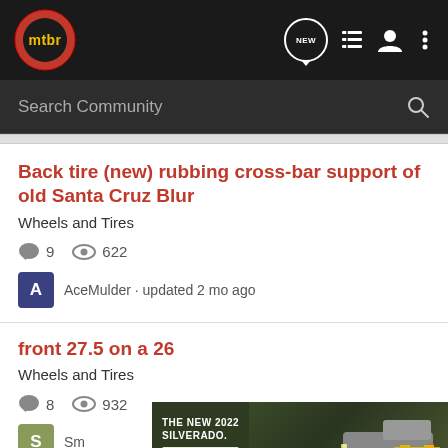mtbr — navigation header with logo, NEW, list, user, and menu icons
Search Community
Back tire (new) rubbing cross-bar support of old Santa Cruz Blur
Wheels and Tires
9 comments  622 views
AceMulder · updated 2 mo ago
front 27.5 on a 26
Wheels and Tires
8 comments  932 views
Sm... updated ... ago
[Figure (screenshot): Chevrolet Silverado 2022 advertisement banner showing truck in outdoor setting with text 'THE NEW 2022 SILVERADO.' and Explore button and Chevrolet logo]